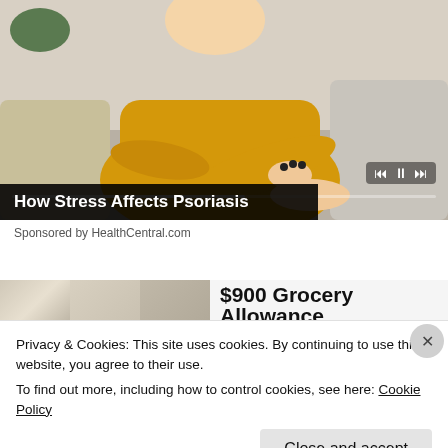[Figure (photo): Woman in yellow/mustard knit sweater sitting on a couch, examining her arm/elbow. Background shows gray couch pillows and a plant. Video player controls overlay (skip back, pause, skip forward) and a progress bar are visible at the bottom of the image.]
How Stress Affects Psoriasis
Sponsored by HealthCentral.com
$900 Grocery Allowance
Privacy & Cookies: This site uses cookies. By continuing to use this website, you agree to their use.
To find out more, including how to control cookies, see here: Cookie Policy
Close and accept